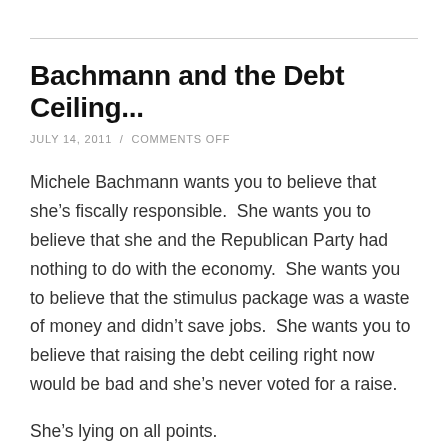Bachmann and the Debt Ceiling...
JULY 14, 2011  /  COMMENTS OFF
Michele Bachmann wants you to believe that she’s fiscally responsible.  She wants you to believe that she and the Republican Party had nothing to do with the economy.  She wants you to believe that the stimulus package was a waste of money and didn’t save jobs.  She wants you to believe that raising the debt ceiling right now would be bad and she’s never voted for a raise.
She’s lying on all points.
Back in April, she voted for Ryan’s budget – the one that